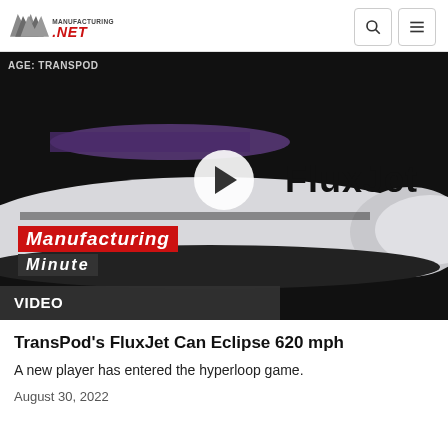Manufacturing.net logo with search and menu icons
[Figure (screenshot): Video thumbnail showing TransPod FluxJet hyperloop vehicle on dark background with Manufacturing Minute overlay and play button. Image credit: TransPod. VIDEO label at bottom left.]
TransPod's FluxJet Can Eclipse 620 mph
A new player has entered the hyperloop game.
August 30, 2022